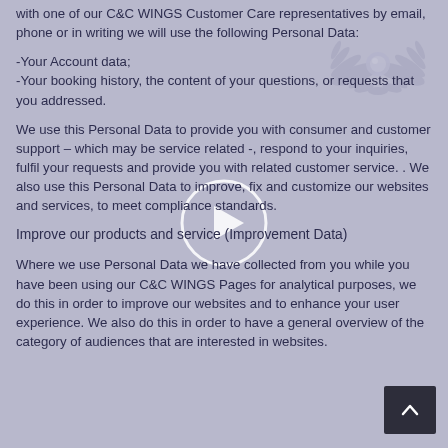with one of our C&C WINGS Customer Care representatives by email, phone or in writing we will use the following Personal Data:
-Your Account data;
-Your booking history, the content of your questions, or requests that you addressed.
We use this Personal Data to provide you with consumer and customer support – which may be service related -, respond to your inquiries, fulfil your requests and provide you with related customer service. . We also use this Personal Data to improve, fix and customize our websites and services, to meet compliance standards.
Improve our products and service (Improvement Data)
Where we use Personal Data we have collected from you while you have been using our C&C WINGS Pages for analytical purposes, we do this in order to improve our websites and to enhance your user experience. We also do this in order to have a general overview of the category of audiences that are interested in websites.
[Figure (logo): C&C WINGS logo watermark - eagle/wings symbol in light grey]
[Figure (other): Video play button circle overlay in center of page]
[Figure (other): Back to top button - dark square with upward arrow in bottom right corner]